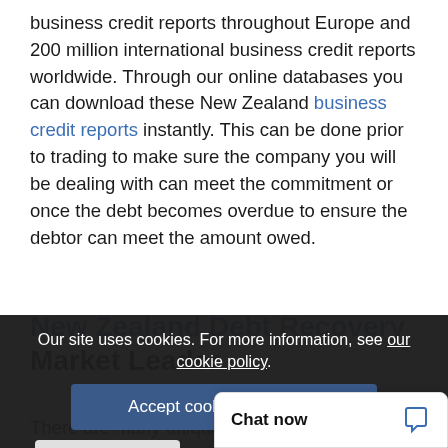business credit reports throughout Europe and 200 million international business credit reports worldwide. Through our online databases you can download these New Zealand business credit reports instantly. This can be done prior to trading to make sure the company you will be dealing with can meet the commitment or once the debt becomes overdue to ensure the debtor can meet the amount owed.
New Zealand Debt Recovery Market Leader
There are many unique requirements to recovering Manuk... y debt collectors... ion agency... it is... rtant that ca... international debt c...
Our site uses cookies. For more information, see our cookie policy.
Accept cookies and close
Reject cooki...
Chat now